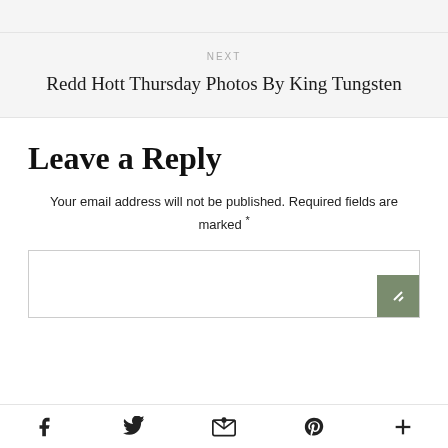[Figure (screenshot): Gray top bar from previous page section]
NEXT
Redd Hott Thursday Photos By King Tungsten
Leave a Reply
Your email address will not be published. Required fields are marked *
[Figure (screenshot): Comment text area input box with green resize handle]
Social share icons: Facebook, Twitter, Email, Pinterest, More